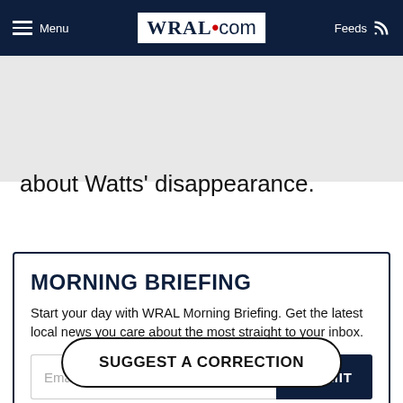Menu | WRAL.com | Feeds
about Watts' disappearance.
MORNING BRIEFING
Start your day with WRAL Morning Briefing. Get the latest local news you care about the most straight to your inbox.
SUGGEST A CORRECTION